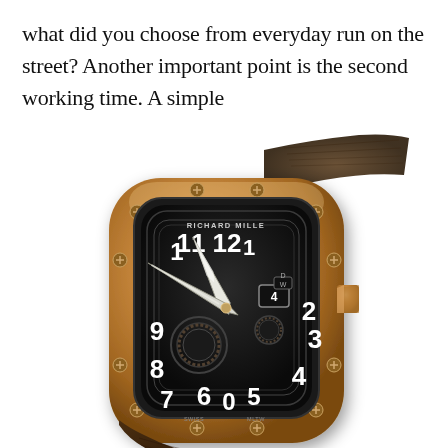what did you choose from everyday run on the street? Another important point is the second working time. A simple
[Figure (photo): A luxury Richard Mille skeleton watch with rose gold case, dark skeletonized dial showing mechanical movement, white Arabic numerals, gold hands, and brown leather strap. The watch is photographed at an angle showing the front face.]